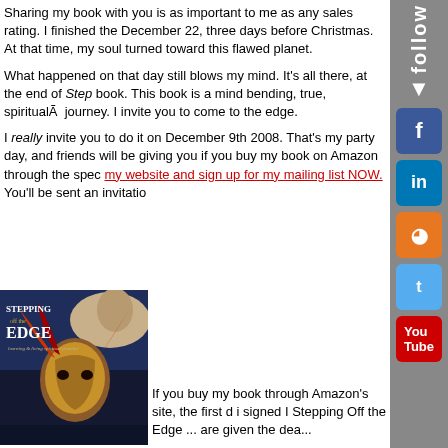Sharing my book with you is as important to me as any sales rating. I finished the December 22, three days before Christmas. At that time, my soul turned toward this flawed planet.
What happened on that day still blows my mind. It's all there, at the end of Stepping Off the Edge book. This book is a mind bending, true, spiritualÃ  journey. I invite you to come to the edge.
I really invite you to do it on December 9th 2008. That's my party day, and friends will be giving you if you buy my book on Amazon through the special link. Visit my website and sign up for my mailing list NOW. You'll be sent an invitation.
[Figure (photo): Book cover of 'Stepping Off the Edge' by Sandy Nathan, featuring a Native American figure with face paint and a horse, dark background with gold and white title text]
If you buy my book through Amazon's site, the first d... i signed I Stepping Off the Edge ... are given the dea...